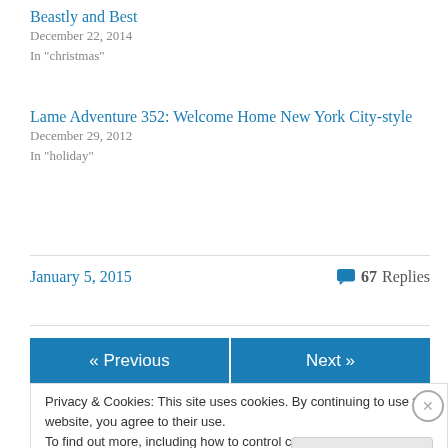Beastly and Best
December 22, 2014
In "christmas"
Lame Adventure 352: Welcome Home New York City-style
December 29, 2012
In "holiday"
January 5, 2015
67 Replies
« Previous
Next »
Privacy & Cookies: This site uses cookies. By continuing to use this website, you agree to their use.
To find out more, including how to control cookies, see here: Cookie Policy
Close and accept